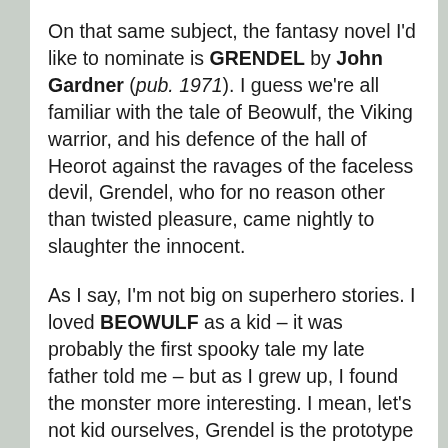On that same subject, the fantasy novel I'd like to nominate is GRENDEL by John Gardner (pub. 1971). I guess we're all familiar with the tale of Beowulf, the Viking warrior, and his defence of the hall of Heorot against the ravages of the faceless devil, Grendel, who for no reason other than twisted pleasure, came nightly to slaughter the innocent.
As I say, I'm not big on superhero stories. I loved BEOWULF as a kid – it was probably the first spooky tale my late father told me – but as I grew up, I found the monster more interesting. I mean, let's not kid ourselves, Grendel is the prototype serial killer. So in many ways, GRENDEL the novel takes us to the other end of the crime thriller spectrum, Gardner depicting his antihero first as an abused and lonely child, later showing him suffer rejection by those he sought to befriend, and finally having him retaliate with homicidal fury.